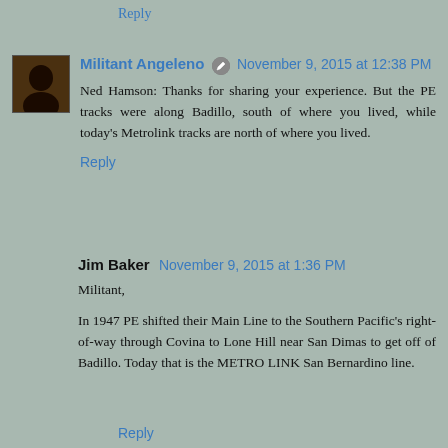Reply
Militant Angeleno ✎ November 9, 2015 at 12:38 PM
Ned Hamson: Thanks for sharing your experience. But the PE tracks were along Badillo, south of where you lived, while today's Metrolink tracks are north of where you lived.
Reply
Jim Baker November 9, 2015 at 1:36 PM
Militant,
In 1947 PE shifted their Main Line to the Southern Pacific's right-of-way through Covina to Lone Hill near San Dimas to get off of Badillo. Today that is the METRO LINK San Bernardino line.
Reply